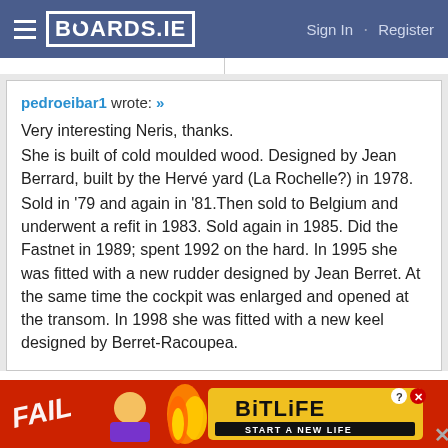BOARDS.IE  Sign In · Register
pedroeibar1 wrote: »
Very interesting Neris, thanks.
She is built of cold moulded wood. Designed by Jean Berrard, built by the Hervé yard (La Rochelle?) in 1978.
Sold in '79 and again in '81.Then sold to Belgium and underwent a refit in 1983. Sold again in 1985. Did the Fastnet in 1989; spent 1992 on the hard. In 1995 she was fitted with a new rudder designed by Jean Berret. At the same time the cockpit was enlarged and opened at the transom. In 1998 she was fitted with a new keel designed by Berret-Racoupea.
[Figure (infographic): BitLife advertisement banner: red background with FAIL text, animated character, flame, and BitLife 'Start a New Life' yellow logo panel]